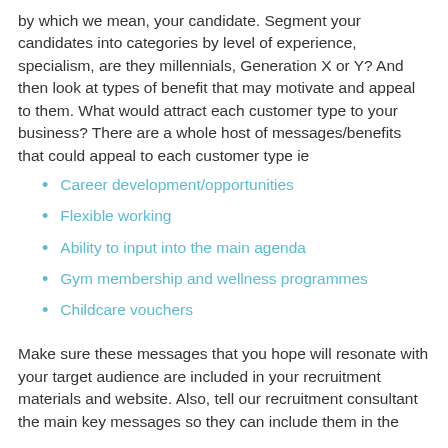by which we mean, your candidate. Segment your candidates into categories by level of experience, specialism, are they millennials, Generation X or Y? And then look at types of benefit that may motivate and appeal to them. What would attract each customer type to your business? There are a whole host of messages/benefits that could appeal to each customer type ie
Career development/opportunities
Flexible working
Ability to input into the main agenda
Gym membership and wellness programmes
Childcare vouchers
Make sure these messages that you hope will resonate with your target audience are included in your recruitment materials and website. Also, tell our recruitment consultant the main key messages so they can include them in the